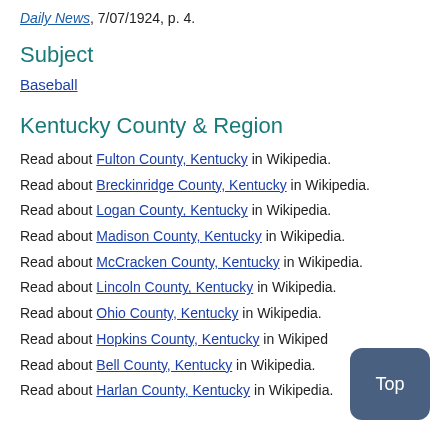Daily News, 7/07/1924, p. 4.
Subject
Baseball
Kentucky County & Region
Read about Fulton County, Kentucky in Wikipedia.
Read about Breckinridge County, Kentucky in Wikipedia.
Read about Logan County, Kentucky in Wikipedia.
Read about Madison County, Kentucky in Wikipedia.
Read about McCracken County, Kentucky in Wikipedia.
Read about Lincoln County, Kentucky in Wikipedia.
Read about Ohio County, Kentucky in Wikipedia.
Read about Hopkins County, Kentucky in Wikipedia.
Read about Bell County, Kentucky in Wikipedia.
Read about Harlan County, Kentucky in Wikipedia.